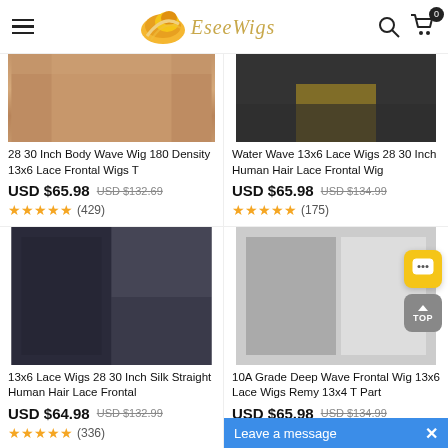EseeWigs — navigation header with logo, search, cart
[Figure (photo): Product image: 28 30 Inch Body Wave Wig 180 Density 13x6 Lace Frontal Wigs]
28 30 Inch Body Wave Wig 180 Density 13x6 Lace Frontal Wigs T
USD $65.98  USD $132.69
★★★★★ (429)
[Figure (photo): Product image: Water Wave 13x6 Lace Wigs 28 30 Inch Human Hair Lace Frontal Wig]
Water Wave 13x6 Lace Wigs 28 30 Inch Human Hair Lace Frontal Wig
USD $65.98  USD $134.99
★★★★★ (175)
[Figure (photo): Product image: 13x6 Lace Wigs 28 30 Inch Silk Straight Human Hair Lace Frontal]
13x6 Lace Wigs 28 30 Inch Silk Straight Human Hair Lace Frontal
USD $64.98  USD $132.99
★★★★★ (336)
[Figure (photo): Product image: 10A Grade Deep Wave Frontal Wig 13x6 Lace Wigs Remy 13x4 T Part]
10A Grade Deep Wave Frontal Wig 13x6 Lace Wigs Remy 13x4 T Part
USD $65.98  USD $134.99
★ Leave a message